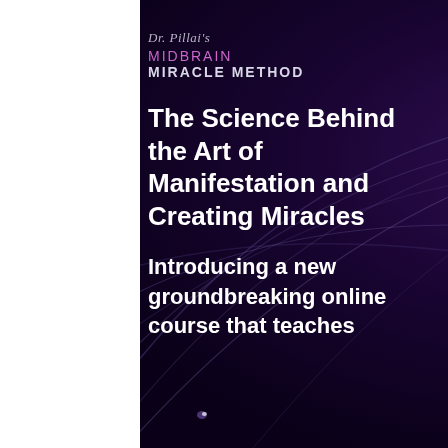[Figure (logo): Dr. Pillai's Midbrain Miracle Method logo with script text and all-caps typography on dark purple background]
The Science Behind the Art of Manifestation and Creating Miracles
Introducing a new groundbreaking online course that teaches